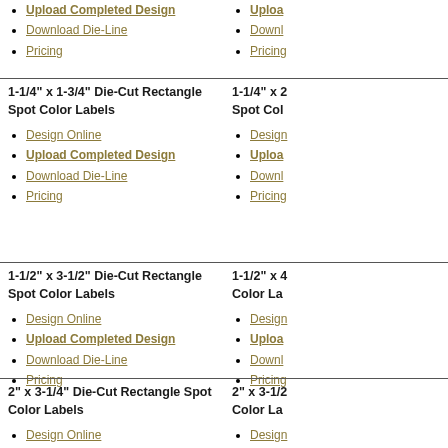Upload Completed Design
Download Die-Line
Pricing
1-1/4" x 1-3/4" Die-Cut Rectangle Spot Color Labels
Design Online
Upload Completed Design
Download Die-Line
Pricing
1-1/4" x 2... Spot Col...
Design Online
Upload...
Downl...
Pricing
1-1/2" x 3-1/2" Die-Cut Rectangle Spot Color Labels
Design Online
Upload Completed Design
Download Die-Line
Pricing
1-1/2" x 4... Color La...
Design Online
Upload...
Downl...
Pricing
2" x 3-1/4" Die-Cut Rectangle Spot Color Labels
Design Online
2" x 3-1/2... Color La...
Design Online